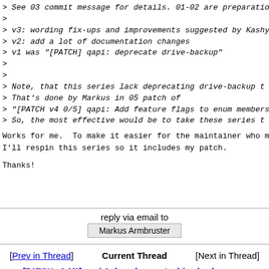> See 03 commit message for details. 01-02 are preparatio
>
> v3: wording fix-ups and improvements suggested by Kashy
> v2: add a lot of documentation changes
> v1 was "[PATCH] qapi: deprecate drive-backup"
>
>
> Note, that this series lack deprecating drive-backup t
> That's done by Markus in 05 patch of
> "[PATCH v4 0/5] qapi: Add feature flags to enum members
> So, the most effective would be to take these series t
Works for me.  To make it easier for the maintainer who m
I'll respin this series so it includes my patch.
Thanks!
reply via email to
Markus Armbruster
[Prev in Thread]   Current Thread   [Next in Thread]
[PATCH v3 0/3] qapi & doc: deprecate drive-backup, Vladimir Sementsov-Ogievskiy, 2021/11/03
[PATCH v3 1/3] docs/block-replication: use